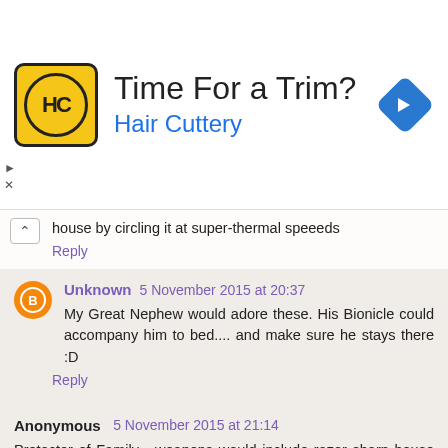[Figure (infographic): Hair Cuttery advertisement banner with yellow/black logo, 'Time For a Trim?' heading, 'Hair Cuttery' subtitle in blue, and a blue navigation arrow icon on the right]
[partial text cut off] ...would stop the heat escaping from my house by circling it at super-thermal speeeds
Reply
Unknown  5 November 2015 at 20:37
My Great Nephew would adore these. His Bionicle could accompany him to bed.... and make sure he stays there :D
Reply
Anonymous  5 November 2015 at 21:14
Protector of Family - weapons would include razor sharp house keys and a light saber (just because they are cool!).

@rachiegr